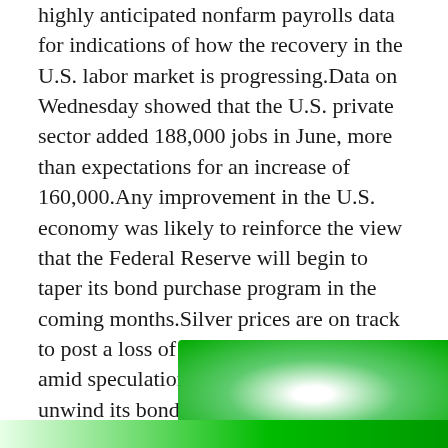highly anticipated nonfarm payrolls data for indications of how the recovery in the U.S. labor market is progressing.Data on Wednesday showed that the U.S. private sector added 188,000 jobs in June, more than expectations for an increase of 160,000.Any improvement in the U.S. economy was likely to reinforce the view that the Federal Reserve will begin to taper its bond purchase program in the coming months.Silver prices are on track to post a loss of almost 36% on the year, amid speculation the Fed will start to unwind its bond purchasing program in the coming months.Silver futures fell to a 34-month low of USD18.18 a troy ounce on June 28.Moves in the silver price this year have largely tracked shifting expectations as to whether the U.S. central bank would end itsbond-buying program
[Figure (photo): Partial green glowing image visible at bottom right of the page, likely a chart or decorative financial graphic with green gradient]